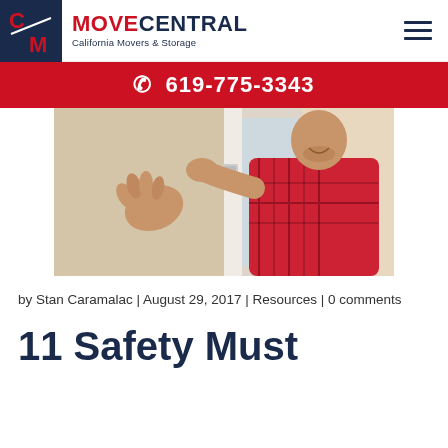MOVE CENTRAL - California Movers & Storage | 619-775-3343
[Figure (photo): Man in red plaid shirt installing or adjusting a window lock/handle on a white window frame, smiling]
by Stan Caramalac | August 29, 2017 | Resources | 0 comments
11 Safety Must